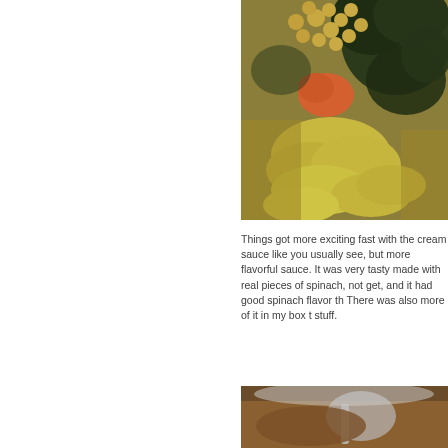[Figure (photo): Close-up photo of a food dish showing chickpeas, dark leafy greens (spinach), tomatoes, and yellow/pale cooked onions or pasta in a sauce, viewed from above.]
Things got more exciting fast with the cream sauce like you usually see, but more flavorful sauce. It was very tasty made with real pieces of spinach, not get, and it had good spinach flavor th There was also more of it in my box t stuff.
[Figure (photo): Partial photo showing what appears to be a bowl or container of soup or broth with a ladle or spoon, viewed from above.]